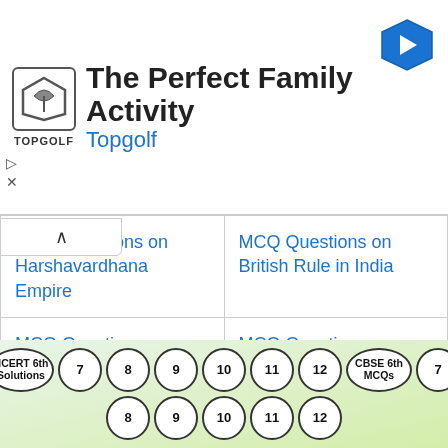[Figure (other): Topgolf advertisement banner with logo, title 'The Perfect Family Activity', subtitle 'Topgolf', and navigation arrow icon]
| MCQ Questions on Harshavardhana Empire | MCQ Questions on British Rule in India |
| MCQ Questions on Vedic Age | MCQ Questions on Modern Indian History |
| MCQ Questions on Medieval History Art and Culture | MCQ Questions on Struggle for Independence of |
NCERT 6th Solutions | 7 | 8 | 9 | 10 | 11 | 12 | CBSE 6th MCQs | 7 | 8 | 9 | 10 | 11 | 12